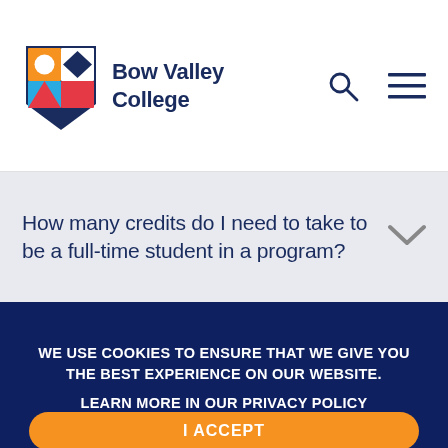[Figure (logo): Bow Valley College logo with colorful shield icon and dark blue text]
How many credits do I need to take to be a full-time student in a program?
WE USE COOKIES TO ENSURE THAT WE GIVE YOU THE BEST EXPERIENCE ON OUR WEBSITE. LEARN MORE IN OUR PRIVACY POLICY
I ACCEPT